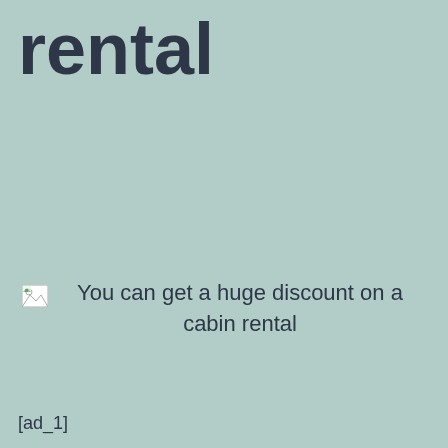rental
[Figure (other): Broken image icon (small thumbnail placeholder)]
You can get a huge discount on a cabin rental
[ad_1]